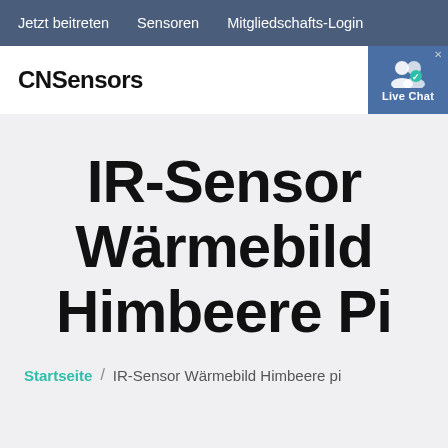Jetzt beitreten   Sensoren   Mitgliedschafts-Login
[Figure (logo): CNSensors logo text in bold black]
[Figure (other): Live Chat button widget with user icon]
IR-Sensor Wärmebild Himbeere Pi
Startseite / IR-Sensor Wärmebild Himbeere pi